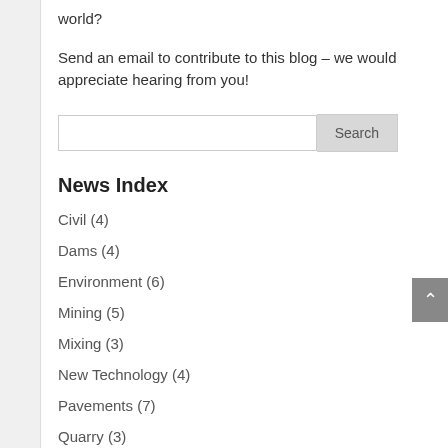world?
Send an email to contribute to this blog – we would appreciate hearing from you!
News Index
Civil (4)
Dams (4)
Environment (6)
Mining (5)
Mixing (3)
New Technology (4)
Pavements (7)
Quarry (3)